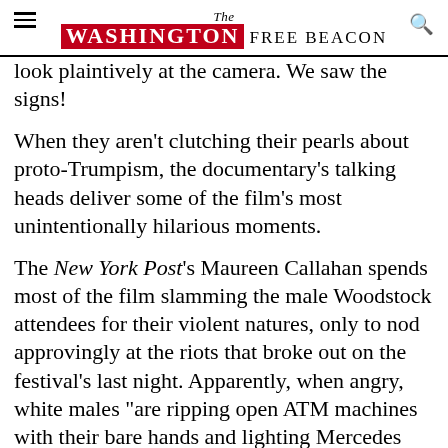The Washington Free Beacon
look plaintively at the camera. We saw the signs!
When they aren't clutching their pearls about proto-Trumpism, the documentary's talking heads deliver some of the film's most unintentionally hilarious moments.
The New York Post's Maureen Callahan spends most of the film slamming the male Woodstock attendees for their violent natures, only to nod approvingly at the riots that broke out on the festival's last night. Apparently, when angry, white males "are ripping open ATM machines with their bare hands and lighting Mercedes Benzes on fire," they're not demonstrating white privilege, but demonstrating it.